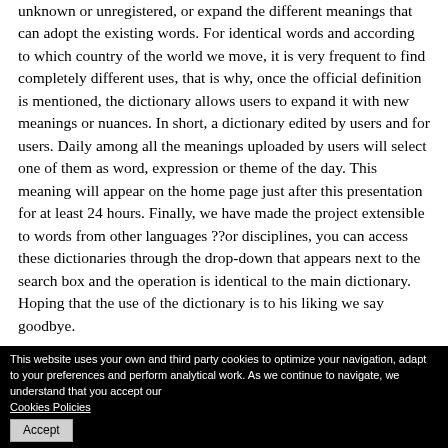unknown or unregistered, or expand the different meanings that can adopt the existing words. For identical words and according to which country of the world we move, it is very frequent to find completely different uses, that is why, once the official definition is mentioned, the dictionary allows users to expand it with new meanings or nuances. In short, a dictionary edited by users and for users. Daily among all the meanings uploaded by users will select one of them as word, expression or theme of the day. This meaning will appear on the home page just after this presentation for at least 24 hours. Finally, we have made the project extensible to words from other languages ??or disciplines, you can access these dictionaries through the drop-down that appears next to the search box and the operation is identical to the main dictionary. Hoping that the use of the dictionary is to his liking we say goodbye.
Sincerely,
English Working Group
How has the dictionary evolved?
This website uses your own and third party cookies to optimize your navigation, adapt to your preferences and perform analytical work. As we continue to navigate, we understand that you accept our Cookies Policies Accept